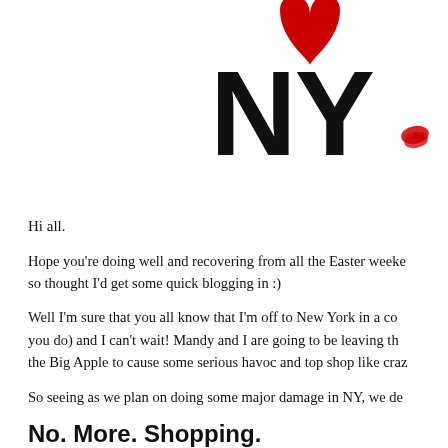[Figure (logo): I Love NY logo (partial, cropped) showing a red heart, bold 'NY' letters, and a red lipstick kiss mark in the lower right. The 'I' and full logo are partially cut off on the left.]
Hi all.
Hope you're doing well and recovering from all the Easter weeke so thought I'd get some quick blogging in :)
Well I'm sure that you all know that I'm off to New York in a co you do) and I can't wait! Mandy and I are going to be leaving th the Big Apple to cause some serious havoc and top shop like craz
So seeing as we plan on doing some major damage in NY, we de
No. More. Shopping.